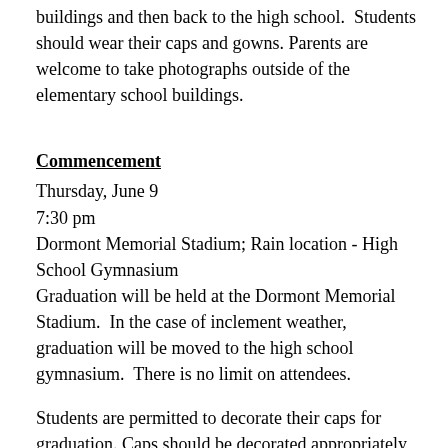buildings and then back to the high school. Students should wear their caps and gowns. Parents are welcome to take photographs outside of the elementary school buildings.
Commencement
Thursday, June 9
7:30 pm
Dormont Memorial Stadium; Rain location - High School Gymnasium
Graduation will be held at the Dormont Memorial Stadium. In the case of inclement weather, graduation will be moved to the high school gymnasium. There is no limit on attendees.
Students are permitted to decorate their caps for graduation. Caps should be decorated appropriately to reflect the student's interests or hobbies, their time at Keystone Oaks,